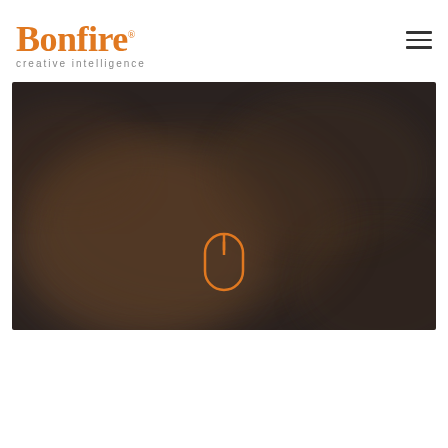[Figure (logo): Bonfire creative intelligence logo in orange with hamburger menu icon]
[Figure (photo): Dark brown/charcoal blurred background hero image with an orange outlined mouse/scroll icon centered in the lower portion]